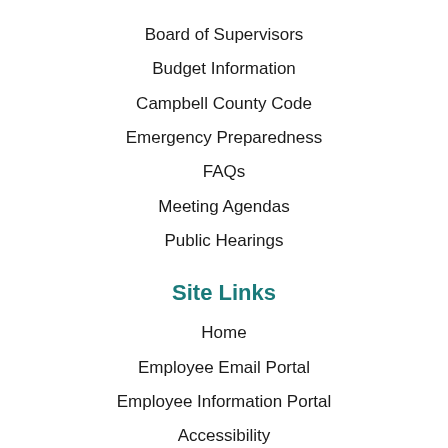Board of Supervisors
Budget Information
Campbell County Code
Emergency Preparedness
FAQs
Meeting Agendas
Public Hearings
Site Links
Home
Employee Email Portal
Employee Information Portal
Accessibility
Privacy
Site Map
Copyright Notices